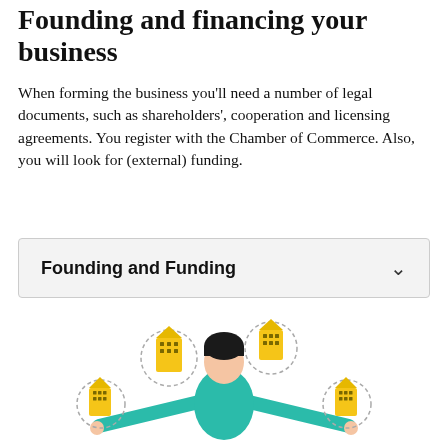Founding and financing your business
When forming the business you'll need a number of legal documents, such as shareholders', cooperation and licensing agreements. You register with the Chamber of Commerce. Also, you will look for (external) funding.
Founding and Funding
[Figure (illustration): Illustration of a person in a teal shirt with arms outstretched, surrounded by four golden building/house icons with dashed circular outlines, representing founding and funding a business.]